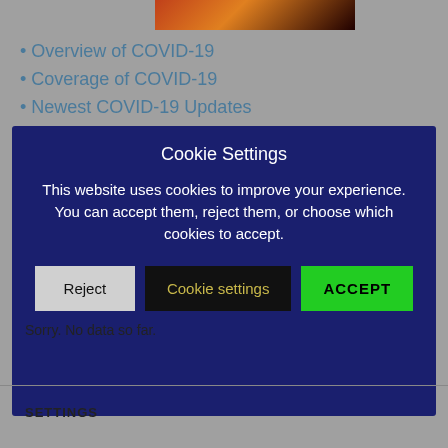[Figure (photo): Partial image of a dark fiery or sunset scene at the top center of the page]
• Overview of COVID-19
• Coverage of COVID-19
• Newest COVID-19 Updates
[Figure (screenshot): Cookie consent modal dialog with dark navy background containing title 'Cookie Settings', body text about cookie usage, and three buttons: Reject, Cookie settings, ACCEPT]
Sorry. No data so far.
SETTINGS